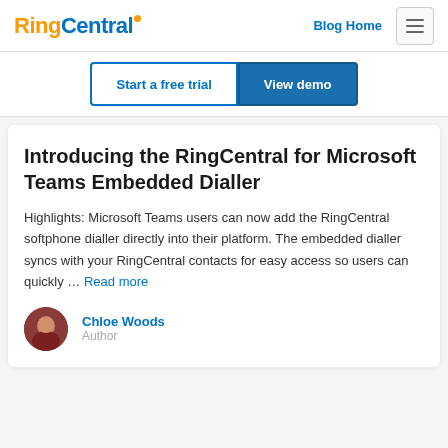RingCentral — Blog Home
Start a free trial | View demo
Introducing the RingCentral for Microsoft Teams Embedded Dialler
Highlights: Microsoft Teams users can now add the RingCentral softphone dialler directly into their platform. The embedded dialler syncs with your RingCentral contacts for easy access so users can quickly … Read more
Chloe Woods
Author